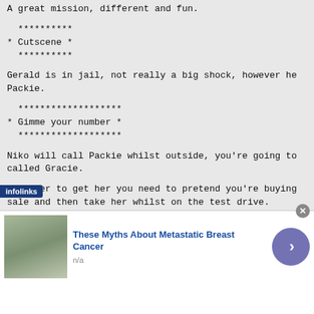A great mission, different and fun.
**********
* Cutscene *
  **********
Gerald is in jail, not really a big shock, however he Packie.
*******************
* Gimme your number *
  *******************
Niko will call Packie whilst outside, you're going to called Gracie.
In order to get her you need to pretend you're buying sale and then take her whilst on the test drive.
Head on over to Tw@. Once inside, log onto the web. Or page, scroll down to the AutoEroticar.Com advert in th Click on it to head to the website. Click 'View Cars' e. look at it and then the number will be addr